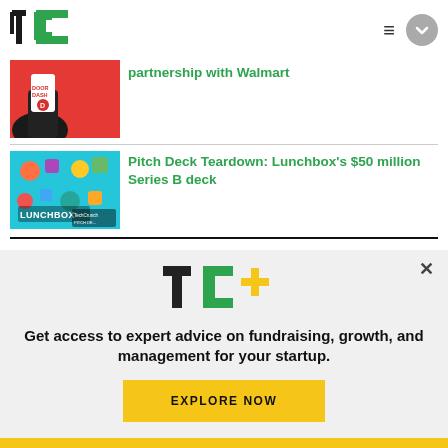TechCrunch
partnership with Walmart
[Figure (photo): Hand holding phone with DoorDash app on red background]
Pitch Deck Teardown: Lunchbox's $50 million Series B deck
[Figure (photo): Lunchbox branding colorful image with TechCrunch Pitch Deck Teardown watermark]
Conversation
[Figure (logo): TC+ logo in green and gold]
Get access to expert advice on fundraising, growth, and management for your startup.
EXPLORE NOW